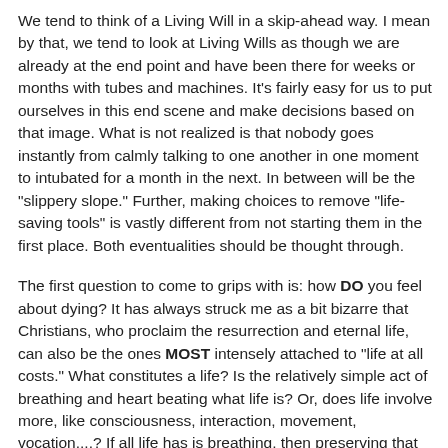We tend to think of a Living Will in a skip-ahead way. I mean by that, we tend to look at Living Wills as though we are already at the end point and have been there for weeks or months with tubes and machines. It's fairly easy for us to put ourselves in this end scene and make decisions based on that image. What is not realized is that nobody goes instantly from calmly talking to one another in one moment to intubated for a month in the next. In between will be the "slippery slope." Further, making choices to remove "life-saving tools" is vastly different from not starting them in the first place. Both eventualities should be thought through.
The first question to come to grips with is: how DO you feel about dying? It has always struck me as a bit bizarre that Christians, who proclaim the resurrection and eternal life, can also be the ones MOST intensely attached to "life at all costs." What constitutes a life? Is the relatively simple act of breathing and heart beating what life is? Or, does life involve more, like consciousness, interaction, movement, vocation....? If all life has is breathing, then preserving that includes a particular set of steps on that pathway. If life involves lots more than that another course is required.